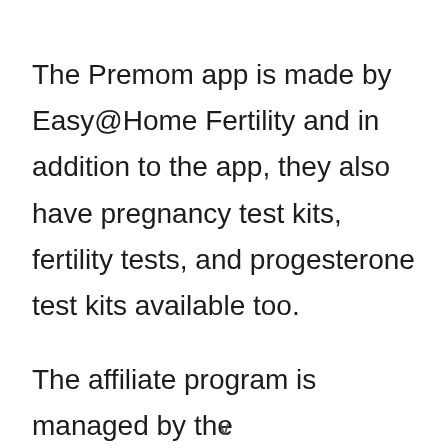The Premom app is made by Easy@Home Fertility and in addition to the app, they also have pregnancy test kits, fertility tests, and progesterone test kits available too.
The affiliate program is managed by the Shareasale.com network, uses a 30-day cookie and pays 8% commission on all their